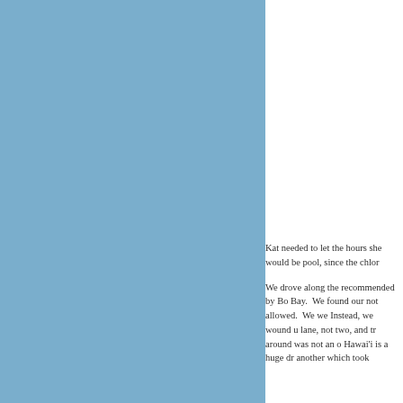[Figure (photo): Partial view of a person, dark reddish-brown tones, upper body visible, photo is cropped]
Kat needed to let the hours she would be pool, since the chlor
We drove along the recommended by Bo Bay. We found our not allowed. We we Instead, we wound u lane, not two, and tr around was not an o Hawai'i is a huge dr another which took